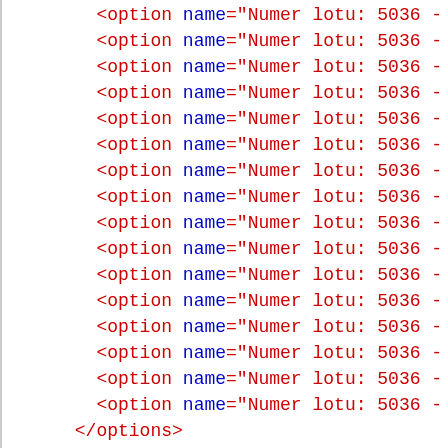<option name="Numer lotu: 5036 - ... (repeated lines)
</options>
</service>
</services>
<forminfo>